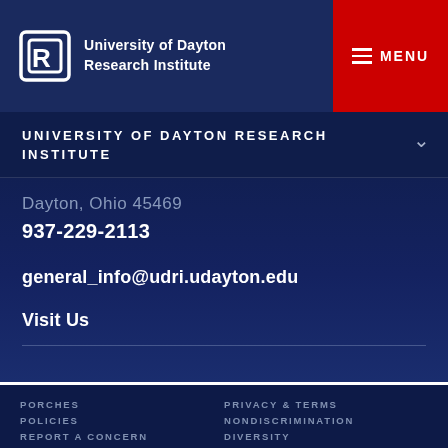University of Dayton Research Institute
UNIVERSITY OF DAYTON RESEARCH INSTITUTE
Dayton, Ohio 45469
937-229-2113
general_info@udri.udayton.edu
Visit Us
PORCHES  POLICIES  REPORT A CONCERN  PRIVACY & TERMS  NONDISCRIMINATION  DIVERSITY